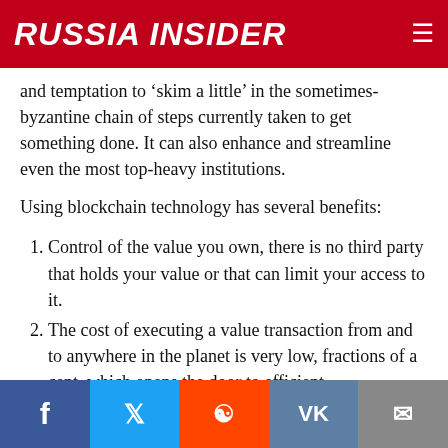RUSSIA INSIDER
and temptation to ‘skim a little’ in the sometimes-byzantine chain of steps currently taken to get something done. It can also enhance and streamline even the most top-heavy institutions.
Using blockchain technology has several benefits:
Control of the value you own, there is no third party that holds your value or that can limit your access to it.
The cost of executing a value transaction from and to anywhere in the planet is very low, fractions of a cent, which opens the door to efficient micropayments.
Social share buttons: Facebook, Twitter, Reddit, VK, Email